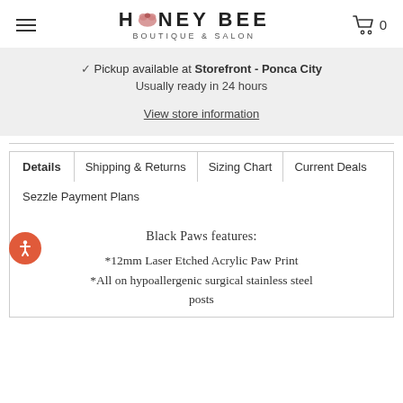HONEY BEE BOUTIQUE & SALON
✓ Pickup available at Storefront - Ponca City
Usually ready in 24 hours
View store information
Details | Shipping & Returns | Sizing Chart | Current Deals | Sezzle Payment Plans
Black Paws features:
*12mm Laser Etched Acrylic Paw Print
*All on hypoallergenic surgical stainless steel posts